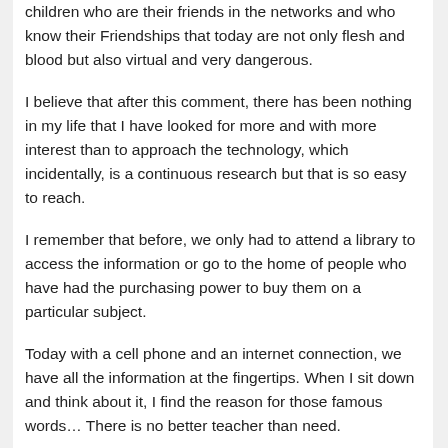children who are their friends in the networks and who know their Friendships that today are not only flesh and blood but also virtual and very dangerous.
I believe that after this comment, there has been nothing in my life that I have looked for more and with more interest than to approach the technology, which incidentally, is a continuous research but that is so easy to reach.
I remember that before, we only had to attend a library to access the information or go to the home of people who have had the purchasing power to buy them on a particular subject.
Today with a cell phone and an internet connection, we have all the information at the fingertips. When I sit down and think about it, I find the reason for those famous words… There is no better teacher than need.
The thirst to know in what things and our young people